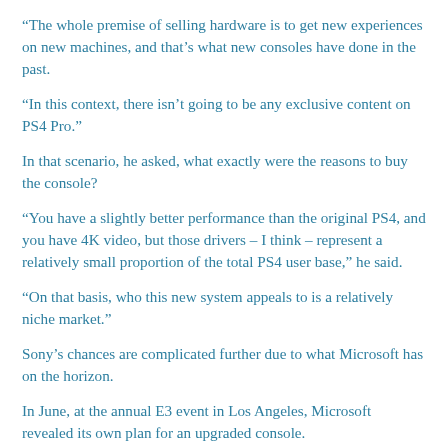“The whole premise of selling hardware is to get new experiences on new machines, and that’s what new consoles have done in the past.
“In this context, there isn’t going to be any exclusive content on PS4 Pro.”
In that scenario, he asked, what exactly were the reasons to buy the console?
“You have a slightly better performance than the original PS4, and you have 4K video, but those drivers – I think – represent a relatively small proportion of the total PS4 user base,” he said.
“On that basis, who this new system appeals to is a relatively niche market.”
Sony’s chances are complicated further due to what Microsoft has on the horizon.
In June, at the annual E3 event in Los Angeles, Microsoft revealed its own plan for an upgraded console.